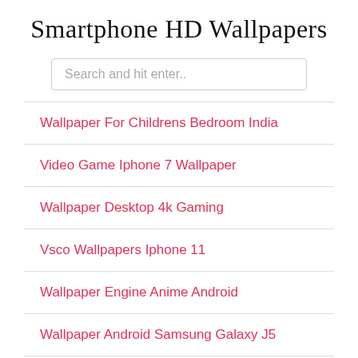Smartphone HD Wallpapers
Wallpaper For Childrens Bedroom India
Video Game Iphone 7 Wallpaper
Wallpaper Desktop 4k Gaming
Vsco Wallpapers Iphone 11
Wallpaper Engine Anime Android
Wallpaper Android Samsung Galaxy J5